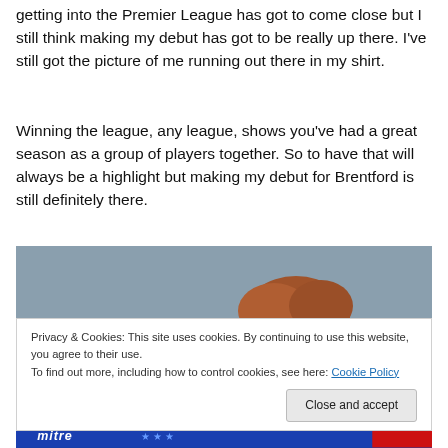getting into the Premier League has got to come close but I still think making my debut has got to be really up there. I've still got the picture of me running out there in my shirt.
Winning the league, any league, shows you've had a great season as a group of players together. So to have that will always be a highlight but making my debut for Brentford is still definitely there.
[Figure (photo): Top portion of a person's head with light brown/auburn hair against a grey background]
Privacy & Cookies: This site uses cookies. By continuing to use this website, you agree to their use.
To find out more, including how to control cookies, see here: Cookie Policy
[Close and accept button]
[Figure (photo): Bottom strip showing blue sports kit/jersey with mitre branding and star pattern]